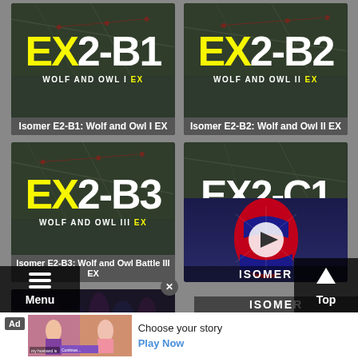[Figure (screenshot): Game content card for Isomer E2-B1: Wolf and Owl I EX with map background and yellow/white EX2-B1 title text]
Isomer E2-B1: Wolf and Owl I EX
[Figure (screenshot): Game content card for Isomer E2-B2: Wolf and Owl II EX with map background and yellow/white EX2-B2 title text]
Isomer E2-B2: Wolf and Owl II EX
[Figure (screenshot): Game content card for Isomer E2-B3: Wolf and Owl Battle III EX with map background and yellow/white EX2-B3 title text]
Isomer E2-B3: Wolf and Owl Battle III EX
[Figure (screenshot): Game content card for EX2-C1: Under the Wall I EX with Spider-Man figure and play button overlay]
[Figure (screenshot): Bottom left card with ISOMER branding and characters]
[Figure (screenshot): Bottom right card with ISOMER branding]
[Figure (infographic): Advertisement banner: Ad tag, story game images, Choose your story text, Play Now button]